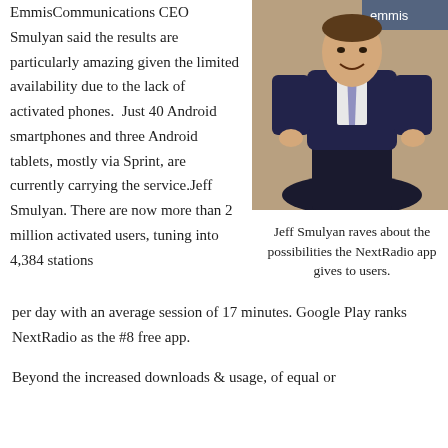EmmisCommunications CEO Smulyan said the results are particularly amazing given the limited availability due to the lack of activated phones.  Just 40 Android smartphones and three Android tablets, mostly via Sprint, are currently carrying the service.Jeff Smulyan. There are now more than 2 million activated users, tuning into 4,384 stations per day with an average session of 17 minutes. Google Play ranks NextRadio as the #8 free app.
[Figure (photo): Jeff Smulyan, CEO of Emmis Communications, standing in front of a backdrop with the Emmis logo, wearing a dark suit and striped tie.]
Jeff Smulyan raves about the possibilities the NextRadio app gives to users.
Beyond the increased downloads & usage, of equal or